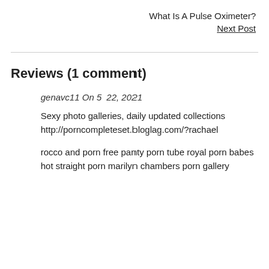What Is A Pulse Oximeter?
Next Post
Reviews (1 comment)
genavc11 On 5 22, 2021
Sexy photo galleries, daily updated collections http://porncompleteset.bloglag.com/?rachael
rocco and porn free panty porn tube royal porn babes hot straight porn marilyn chambers porn gallery